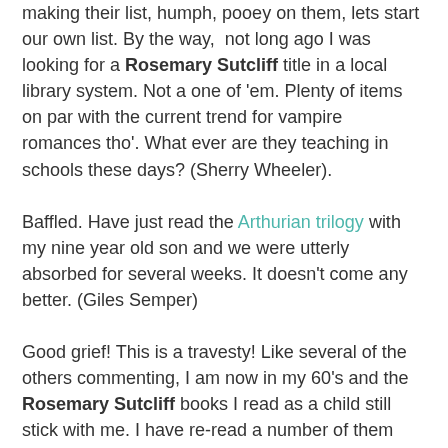making their list, humph, pooey on them, lets start our own list. By the way,  not long ago I was looking for a Rosemary Sutcliff title in a local library system. Not a one of 'em. Plenty of items on par with the current trend for vampire romances tho'. What ever are they teaching in schools these days? (Sherry Wheeler).
Baffled. Have just read the Arthurian trilogy with my nine year old son and we were utterly absorbed for several weeks. It doesn't come any better. (Giles Semper)
Good grief! This is a travesty! Like several of the others commenting, I am now in my 60's and the Rosemary Sutcliff books I read as a child still stick with me. I have re-read a number of them and the beautiful writing and their elegiac quality brings me